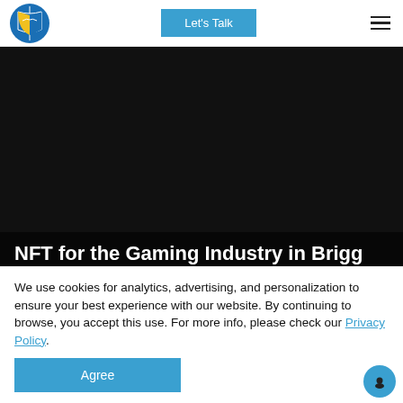[Figure (logo): Circular logo with blue and yellow shield/flag design]
Let's Talk
[Figure (illustration): Dark/black hero banner image background]
NFT for the Gaming Industry in Brigg
We use cookies for analytics, advertising, and personalization to ensure your best experience with our website. By continuing to browse, you accept this use. For more info, please check our Privacy Policy.
Agree